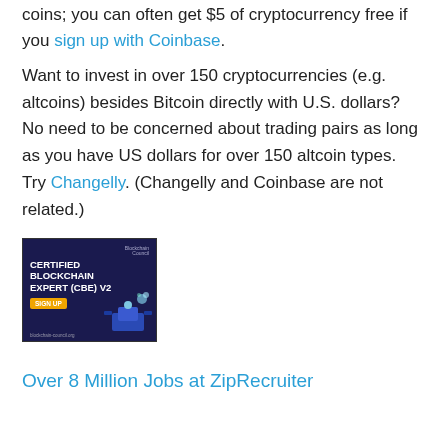Coinbase has many different coins; you can often get $5 of cryptocurrency free if you sign up with Coinbase.
Want to invest in over 150 cryptocurrencies (e.g. altcoins) besides Bitcoin directly with U.S. dollars?  No need to be concerned about trading pairs as long as you have US dollars for over 150 altcoin types.  Try Changelly. (Changelly and Coinbase are not related.)
[Figure (illustration): Advertisement banner for Certified Blockchain Expert (CBE) V2 course with a dark blue background, showing bold white text, a yellow SIGN UP button, and an illustration of a person at a computer desk.]
Over 8 Million Jobs at ZipRecruiter